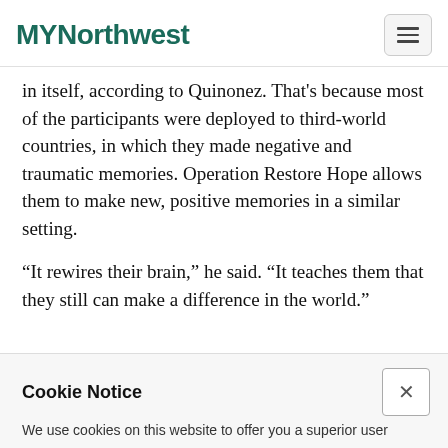MYNorthwest
in itself, according to Quinonez. That's because most of the participants were deployed to third-world countries, in which they made negative and traumatic memories. Operation Restore Hope allows them to make new, positive memories in a similar setting.
“It rewires their brain,” he said. “It teaches them that they still can make a difference in the world.”
Cookie Notice
We use cookies on this website to offer you a superior user